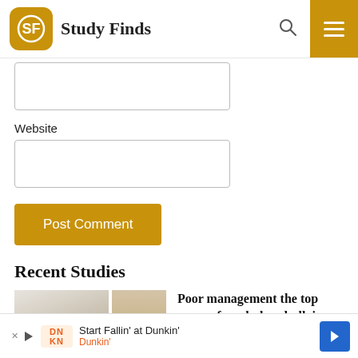Study Finds
Website
Post Comment
Recent Studies
[Figure (photo): Two-panel photo: left panel shows a stressed woman at a desk with a man standing over her; right panel shows people in an office setting.]
Poor management the top cause of workplace bullying, study reveals
SEPTEMBER 5, 2022
Start Fallin' at Dunkin' — Dunkin'